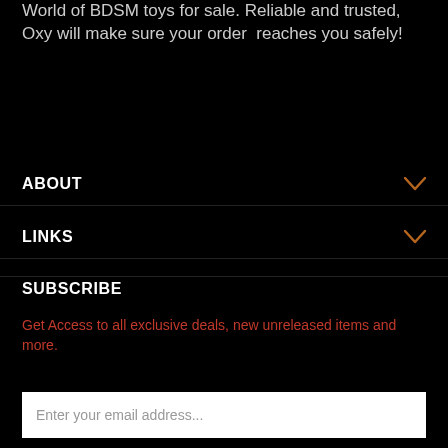World of BDSM toys for sale. Reliable and trusted, Oxy will make sure your order reaches you safely!
ABOUT
LINKS
SUBSCRIBE
Get Access to all exclusive deals, new unreleased items and more.
Enter your email address...